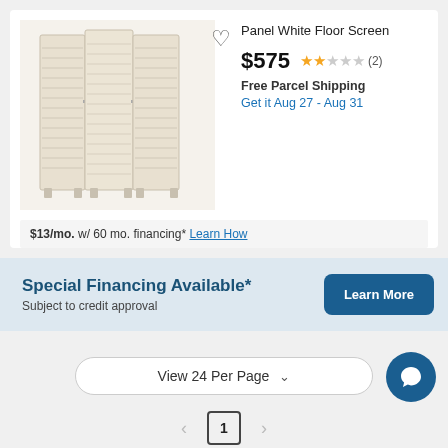[Figure (photo): White wooden 3-panel folding floor screen with louvered slats]
Panel White Floor Screen
$575 ★★☆☆☆ (2)
Free Parcel Shipping
Get it Aug 27 - Aug 31
$13/mo. w/ 60 mo. financing* Learn How
Special Financing Available*
Subject to credit approval
View 24 Per Page
1